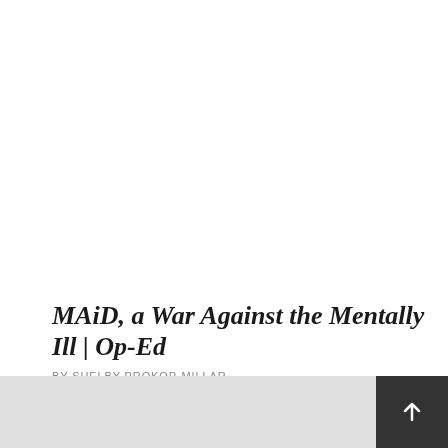MAiD, a War Against the Mentally Ill | Op-Ed
BY SHELBY PROKOP-MILLAR